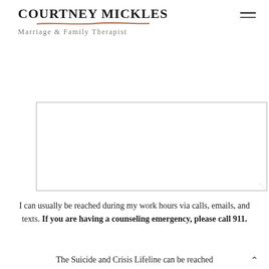COURTNEY MICKLES - Marriage & Family Therapist
[Figure (screenshot): Text area input box (empty) for a contact form]
SUBMIT YOUR MESSAGE
I can usually be reached during my work hours via calls, emails, and texts. If you are having a counseling emergency, please call 911.
The Suicide and Crisis Lifeline can be reached...